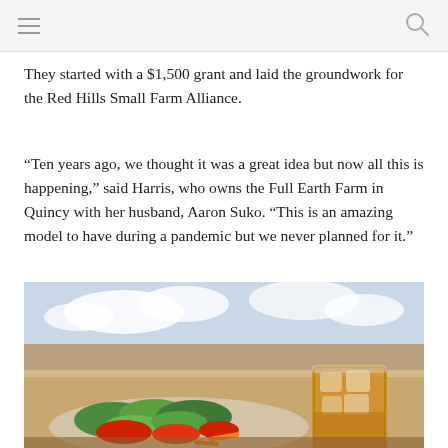They started with a $1,500 grant and laid the groundwork for the Red Hills Small Farm Alliance.
“Ten years ago, we thought it was a great idea but now all this is happening,” said Harris, who owns the Full Earth Farm in Quincy with her husband, Aaron Suko. “This is an amazing model to have during a pandemic but we never planned for it.”
[Figure (photo): A plate of fresh salad with tomatoes and greens with a fork standing upright, and a tall glass of iced tea beside it, photographed near a window with a view of sky.]